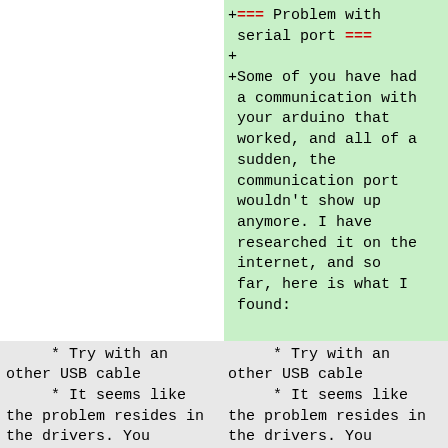+<b>=== Problem with serial port ===</b>
+
+Some of you have had a communication with your arduino that worked, and all of a sudden, the communication port wouldn't show up anymore. I have researched it on the internet, and so far, here is what I found:
* Try with an other USB cable
* It seems like the problem resides in the drivers. You
* Try with an other USB cable
* It seems like the problem resides in the drivers. You